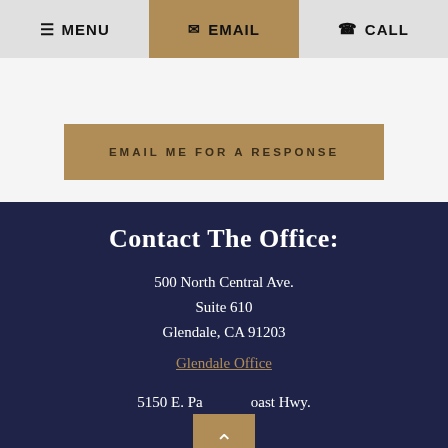MENU | EMAIL | CALL
EMAIL ME FOR A RESPONSE
Contact The Office:
500 North Central Ave.
Suite 610
Glendale, CA 91203
Glendale Office
5150 E. Pa...oast Hwy.
2...or